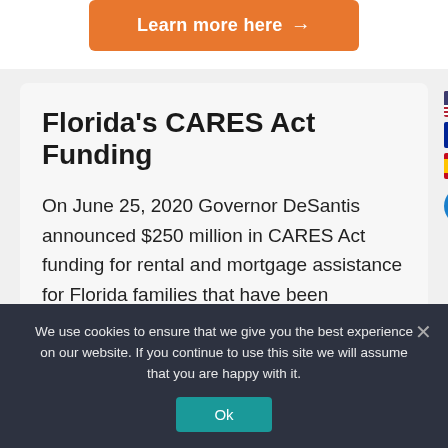[Figure (other): Orange 'Learn more here →' button at top of page]
Florida's CARES Act Funding
On June 25, 2020 Governor DeSantis announced $250 million in CARES Act funding for rental and mortgage assistance for Florida families that have been negatively impacted by the COVID-19 pandemic.
[Figure (other): US flag icon on sidebar]
[Figure (other): French flag icon on sidebar]
[Figure (other): Spanish flag icon on sidebar]
[Figure (other): Blue accessibility icon on sidebar]
We use cookies to ensure that we give you the best experience on our website. If you continue to use this site we will assume that you are happy with it.
Ok